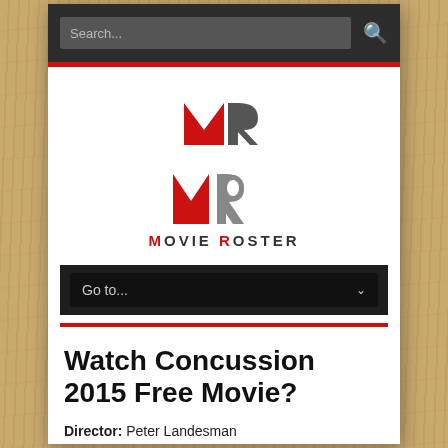[Figure (screenshot): Movie Roster website screenshot showing search bar, logo, navigation dropdown, and movie detail page for Watch Concussion 2015 Free Movie]
Watch Concussion 2015 Free Movie?
Director: Peter Landesman
Running Time: 2 Hour 03 Minutes